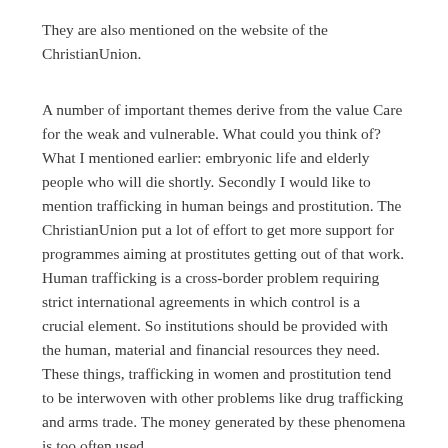They are also mentioned on the website of the ChristianUnion.
A number of important themes derive from the value Care for the weak and vulnerable. What could you think of? What I mentioned earlier: embryonic life and elderly people who will die shortly. Secondly I would like to mention trafficking in human beings and prostitution. The ChristianUnion put a lot of effort to get more support for programmes aiming at prostitutes getting out of that work. Human trafficking is a cross-border problem requiring strict international agreements in which control is a crucial element. So institutions should be provided with the human, material and financial resources they need. These things, trafficking in women and prostitution tend to be interwoven with other problems like drug trafficking and arms trade. The money generated by these phenomena is too often used